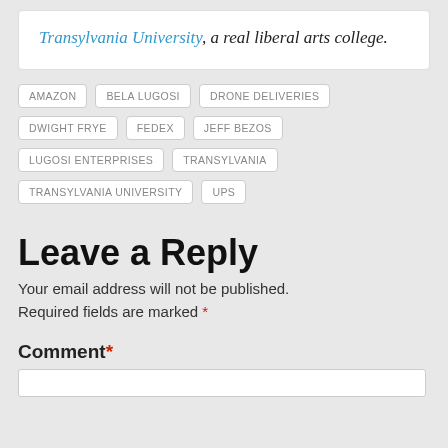Transylvania University, a real liberal arts college.
AMAZON
BELA LUGOSI
DRONE DELIVERIES
DWIGHT FRYE
FEDEX
JEFF BEZOS
LUGOSI ENTERPRISES
TRANSYLVANIA
TRANSYLVANIA UNIVERSITY
UPS
Leave a Reply
Your email address will not be published. Required fields are marked *
Comment *